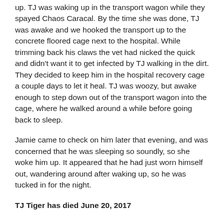up.  TJ was waking up in the transport wagon while they spayed Chaos Caracal.  By the time she was done, TJ was awake and we hooked the transport up to the concrete floored cage next to the hospital.  While trimming back his claws the vet had nicked the quick and didn't want it to get infected by TJ walking in the dirt.  They decided to keep him in the hospital recovery cage a couple days to let it heal.  TJ was woozy, but awake enough to step down out of the transport wagon into the cage, where he walked around a while before going back to sleep.
Jamie came to check on him later that evening, and was concerned that he was sleeping so soundly, so she woke him up.  It appeared that he had just worn himself out, wandering around after waking up, so he was tucked in for the night.
TJ Tiger has died June 20, 2017